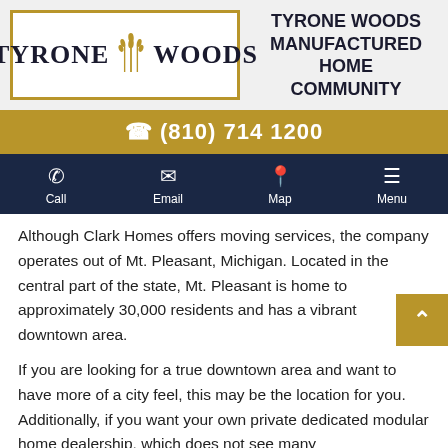[Figure (logo): Tyrone Woods logo with wheat graphic in a gold-bordered box]
TYRONE WOODS MANUFACTURED HOME COMMUNITY
(810) 714 1200
[Figure (infographic): Navigation bar with Call, Email, Map, and Menu icons on dark navy background]
Although Clark Homes offers moving services, the company operates out of Mt. Pleasant, Michigan. Located in the central part of the state, Mt. Pleasant is home to approximately 30,000 residents and has a vibrant downtown area.
If you are looking for a true downtown area and want to have more of a city feel, this may be the location for you. Additionally, if you want your own private dedicated modular home dealership, which does not see many